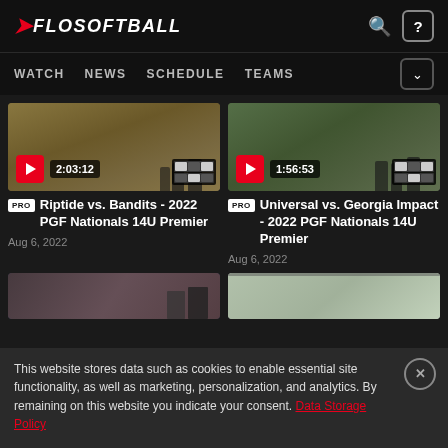FLOSOFTBALL
WATCH NEWS SCHEDULE TEAMS
[Figure (screenshot): Video thumbnail for Riptide vs. Bandits softball game, duration 2:03:12]
PRO Riptide vs. Bandits - 2022 PGF Nationals 14U Premier
Aug 6, 2022
[Figure (screenshot): Video thumbnail for Universal vs. Georgia Impact softball game, duration 1:56:53]
PRO Universal vs. Georgia Impact - 2022 PGF Nationals 14U Premier
Aug 6, 2022
[Figure (screenshot): Partially visible video thumbnail row]
[Figure (screenshot): Partially visible video thumbnail row]
This website stores data such as cookies to enable essential site functionality, as well as marketing, personalization, and analytics. By remaining on this website you indicate your consent. Data Storage Policy